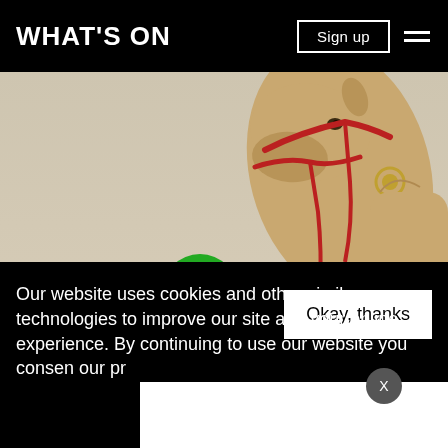WHAT'S ON
Sign up
[Figure (photo): A woman in a bright green hijab and green jacket stands in a desert setting next to a camel with a red harness. The camel is in the foreground on the right, close-up. The background is a hazy beige sky.]
Our website uses cookies and other similar technologies to improve our site and your online experience. By continuing to use our website you consen... our pr...
Okay, thanks